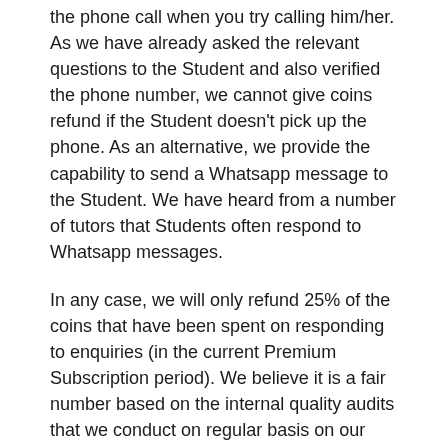the phone call when you try calling him/her. As we have already asked the relevant questions to the Student and also verified the phone number, we cannot give coins refund if the Student doesn't pick up the phone. As an alternative, we provide the capability to send a Whatsapp message to the Student. We have heard from a number of tutors that Students often respond to Whatsapp messages.
In any case, we will only refund 25% of the coins that have been spent on responding to enquiries (in the current Premium Subscription period). We believe it is a fair number based on the internal quality audits that we conduct on regular basis on our enquiries.
Once investigated, if a refund is warranted, we will process the refund in 3 days time and the coins will be added to your account.
Once a discount refund is given it to be...